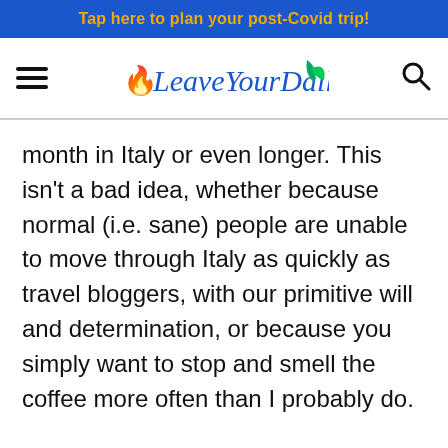Tap here to plan your post-Covid trip!
[Figure (logo): LeaveYourDailyHell logo with hamburger menu and search icon]
month in Italy or even longer. This isn’t a bad idea, whether because normal (i.e. sane) people are unable to move through Italy as quickly as travel bloggers, with our primitive will and determination, or because you simply want to stop and smell the coffee more often than I probably do.